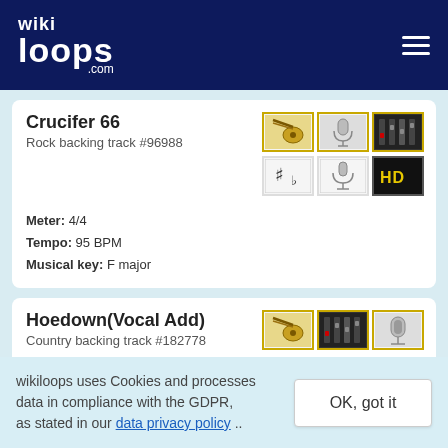wikiloops.com
Crucifer 66
Rock backing track #96988
Meter: 4/4
Tempo: 95 BPM
Musical key: F major
Hoedown(Vocal Add)
Country backing track #182778
wikiloops uses Cookies and processes data in compliance with the GDPR, as stated in our data privacy policy ..